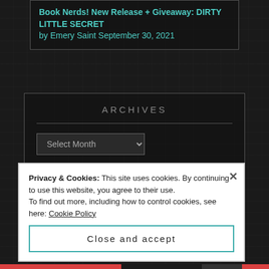Book Nerds! New Release + Giveaway: DIRTY LITTLE SECRET by Emery Saint September 30, 2021
ARCHIVES
SUBSCRIBE TO THE FH2H BLOG
Privacy & Cookies: This site uses cookies. By continuing to use this website, you agree to their use.
To find out more, including how to control cookies, see here: Cookie Policy
Close and accept